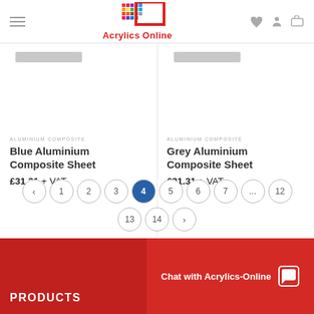Acrylics Online
ALUMINIUM COMPOSITE
Blue Aluminium Composite Sheet
£31.31 + VAT
ALUMINIUM COMPOSITE
Grey Aluminium Composite Sheet
£31.31 + VAT
< 1 2 3 4 5 6 7 ... 12 13 14 >
PRODUCTS | Chat with Acrylics-Online